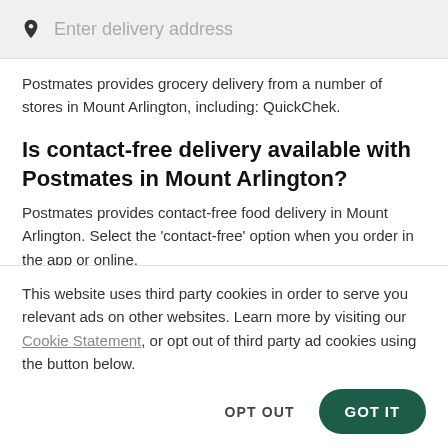[Figure (screenshot): Search bar with location pin icon and 'Enter delivery address' placeholder text on grey background]
Postmates provides grocery delivery from a number of stores in Mount Arlington, including: QuickChek.
Is contact-free delivery available with Postmates in Mount Arlington?
Postmates provides contact-free food delivery in Mount Arlington. Select the 'contact-free' option when you order in the app or online.
This website uses third party cookies in order to serve you relevant ads on other websites. Learn more by visiting our Cookie Statement, or opt out of third party ad cookies using the button below.